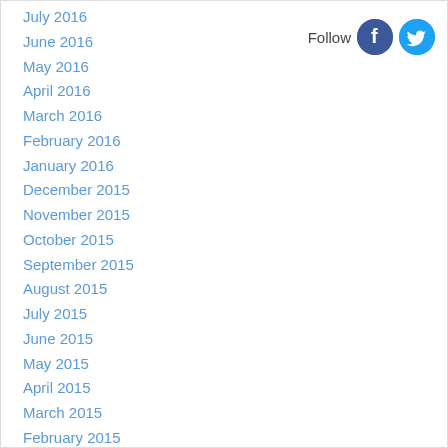July 2016
June 2016
May 2016
April 2016
March 2016
February 2016
January 2016
December 2015
November 2015
October 2015
September 2015
August 2015
July 2015
June 2015
May 2015
April 2015
March 2015
February 2015
January 2015
December 2014
November 2014
[Figure (illustration): Follow label with Facebook and Twitter social media icons]